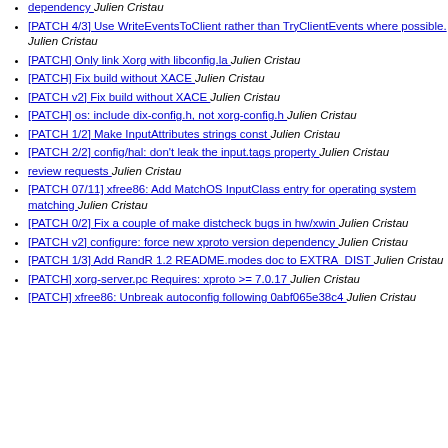dependency  Julien Cristau
[PATCH 4/3] Use WriteEventsToClient rather than TryClientEvents where possible.  Julien Cristau
[PATCH] Only link Xorg with libconfig.la  Julien Cristau
[PATCH] Fix build without XACE  Julien Cristau
[PATCH v2] Fix build without XACE  Julien Cristau
[PATCH] os: include dix-config.h, not xorg-config.h  Julien Cristau
[PATCH 1/2] Make InputAttributes strings const  Julien Cristau
[PATCH 2/2] config/hal: don't leak the input.tags property  Julien Cristau
review requests  Julien Cristau
[PATCH 07/11] xfree86: Add MatchOS InputClass entry for operating system matching  Julien Cristau
[PATCH 0/2] Fix a couple of make distcheck bugs in hw/xwin  Julien Cristau
[PATCH v2] configure: force new xproto version dependency  Julien Cristau
[PATCH 1/3] Add RandR 1.2 README.modes doc to EXTRA_DIST  Julien Cristau
[PATCH] xorg-server.pc Requires: xproto >= 7.0.17  Julien Cristau
[PATCH] xfree86: Unbreak autoconfig following 0abf065e38c4  Julien Cristau